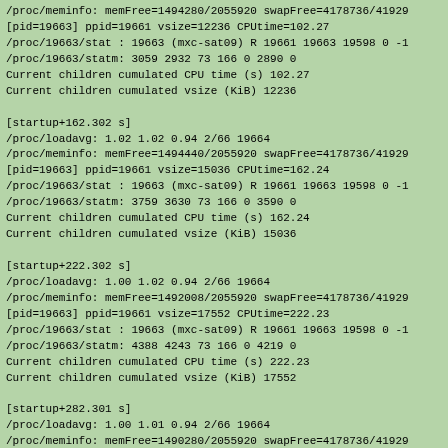/proc/meminfo: memFree=1494280/2055920 swapFree=4178736/41929
[pid=19663] ppid=19661 vsize=12236 CPUtime=102.27
/proc/19663/stat : 19663 (mxc-sat09) R 19661 19663 19598 0 -1
/proc/19663/statm: 3059 2932 73 166 0 2890 0
Current children cumulated CPU time (s) 102.27
Current children cumulated vsize (KiB) 12236

[startup+162.302 s]
/proc/loadavg: 1.02 1.02 0.94 2/66 19664
/proc/meminfo: memFree=1494440/2055920 swapFree=4178736/41929
[pid=19663] ppid=19661 vsize=15036 CPUtime=162.24
/proc/19663/stat : 19663 (mxc-sat09) R 19661 19663 19598 0 -1
/proc/19663/statm: 3759 3630 73 166 0 3590 0
Current children cumulated CPU time (s) 162.24
Current children cumulated vsize (KiB) 15036

[startup+222.302 s]
/proc/loadavg: 1.00 1.02 0.94 2/66 19664
/proc/meminfo: memFree=1492008/2055920 swapFree=4178736/41929
[pid=19663] ppid=19661 vsize=17552 CPUtime=222.23
/proc/19663/stat : 19663 (mxc-sat09) R 19661 19663 19598 0 -1
/proc/19663/statm: 4388 4243 73 166 0 4219 0
Current children cumulated CPU time (s) 222.23
Current children cumulated vsize (KiB) 17552

[startup+282.301 s]
/proc/loadavg: 1.00 1.01 0.94 2/66 19664
/proc/meminfo: memFree=1490280/2055920 swapFree=4178736/41929
[pid=19663] ppid=19661 vsize=19432 CPUtime=282.21
/proc/19663/stat : 19663 (mxc-sat09) R 19661 19663 19598 0 -1
/proc/19663/statm: 4858 4681 73 166 0 4689 0
Current children cumulated CPU time (s) 282.21
Current children cumulated vsize (KiB) 19432